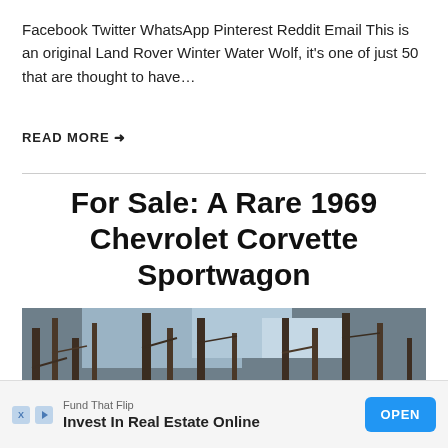Facebook Twitter WhatsApp Pinterest Reddit Email This is an original Land Rover Winter Water Wolf, it’s one of just 50 that are thought to have…
READ MORE →
For Sale: A Rare 1969 Chevrolet Corvette Sportwagon
[Figure (photo): Photo of a red Chevrolet Corvette Sportwagon parked in front of bare winter trees]
Fund That Flip
Invest In Real Estate Online
OPEN